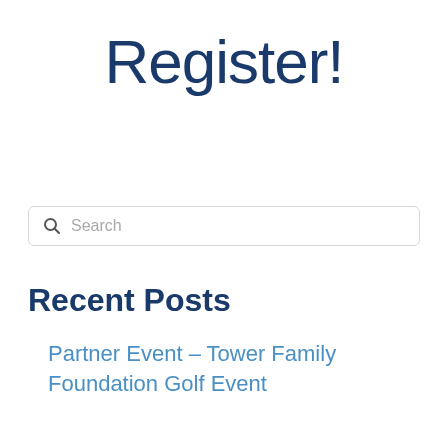Register!
Search
Recent Posts
Partner Event – Tower Family Foundation Golf Event